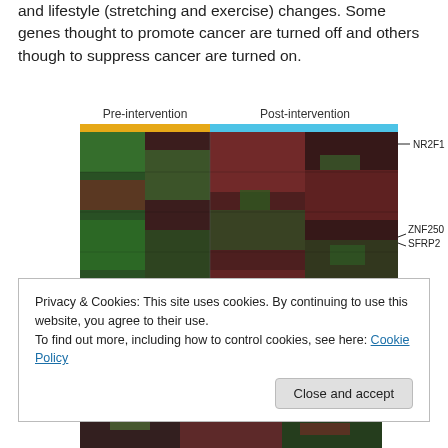and lifestyle (stretching and exercise) changes. Some genes thought to promote cancer are turned off and others though to suppress cancer are turned on.
[Figure (other): Heatmap showing gene expression pre-intervention and post-intervention, with colored bars indicating sample groups (orange for pre-intervention, blue for post-intervention) and gene labels NR2F1, ZNF250, SFRP2 annotated on the right side.]
Privacy & Cookies: This site uses cookies. By continuing to use this website, you agree to their use.
To find out more, including how to control cookies, see here: Cookie Policy